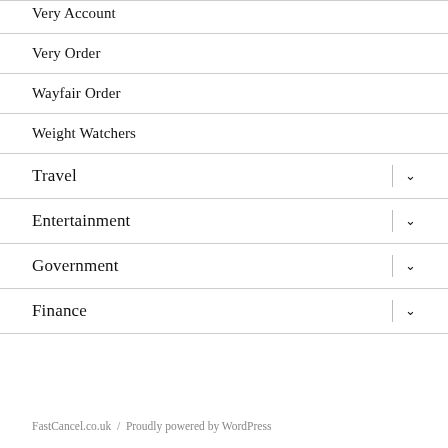Very Account
Very Order
Wayfair Order
Weight Watchers
Travel
Entertainment
Government
Finance
FastCancel.co.uk  /  Proudly powered by WordPress